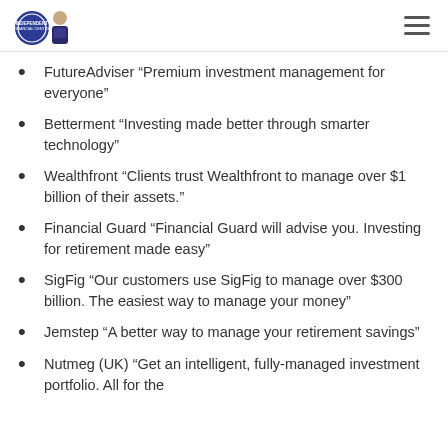Independent Financial Centre logo and navigation
FutureAdviser “Premium investment management for everyone”
Betterment “Investing made better through smarter technology”
Wealthfront “Clients trust Wealthfront to manage over $1 billion of their assets.”
Financial Guard “Financial Guard will advise you. Investing for retirement made easy”
SigFig “Our customers use SigFig to manage over $300 billion. The easiest way to manage your money”
Jemstep “A better way to manage your retirement savings”
Nutmeg (UK) “Get an intelligent, fully-managed investment portfolio. All for the